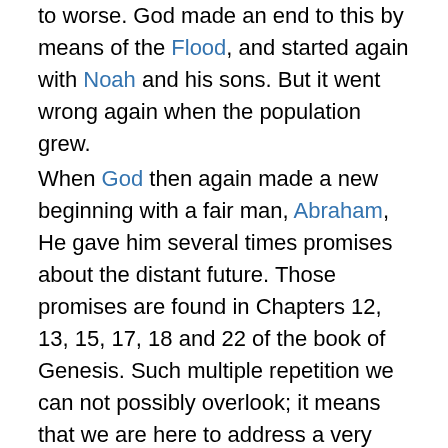to worse. God made an end to this by means of the Flood, and started again with Noah and his sons. But it went wrong again when the population grew.
When God then again made a new beginning with a fair man, Abraham, He gave him several times promises about the distant future. Those promises are found in Chapters 12, 13, 15, 17, 18 and 22 of the book of Genesis. Such multiple repetition we can not possibly overlook; it means that we are here to address a very important foundation of Biblical doctrine. The promises include the following aspects:
Numerous offspring (multiple “seed”)
A blessing for himself
A blessing for all peoples
The whole land of Canaan (for himself and his progeny)